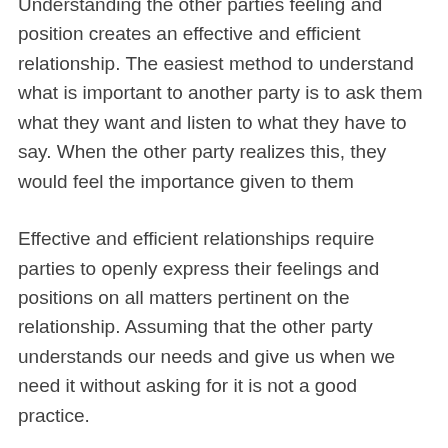Understanding the other parties feeling and position creates an effective and efficient relationship. The easiest method to understand what is important to another party is to ask them what they want and listen to what they have to say. When the other party realizes this, they would feel the importance given to them
Effective and efficient relationships require parties to openly express their feelings and positions on all matters pertinent on the relationship. Assuming that the other party understands our needs and give us when we need it without asking for it is not a good practice.
Respect is the key to relationship. In order to create a more effective relationship, parties should treat each other with respect. We can show respect just by